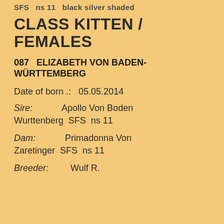SFS  ns 11  black silver shaded
CLASS KITTEN / FEMALES
087  ELIZABETH VON BADEN-WÜRTTEMBERG
Date of born .:  05.05.2014
Sire:  Apollo Von Boden Wurttenberg  SFS  ns 11
Dam:  Primadonna Von Zaretinger  SFS  ns 11
Breeder:  Wulf R.